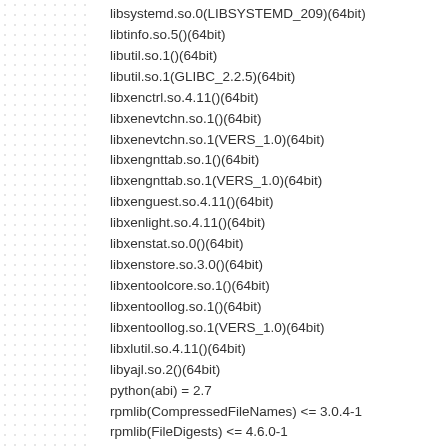libsystemd.so.0(LIBSYSTEMD_209)(64bit)
libtinfo.so.5()(64bit)
libutil.so.1()(64bit)
libutil.so.1(GLIBC_2.2.5)(64bit)
libxenctrl.so.4.11()(64bit)
libxenevtchn.so.1()(64bit)
libxenevtchn.so.1(VERS_1.0)(64bit)
libxengnttab.so.1()(64bit)
libxengnttab.so.1(VERS_1.0)(64bit)
libxenguest.so.4.11()(64bit)
libxenlight.so.4.11()(64bit)
libxenstat.so.0()(64bit)
libxenstore.so.3.0()(64bit)
libxentoolcore.so.1()(64bit)
libxentoollog.so.1()(64bit)
libxentoollog.so.1(VERS_1.0)(64bit)
libxlutil.so.4.11()(64bit)
libyajl.so.2()(64bit)
python(abi) = 2.7
rpmlib(CompressedFileNames) <= 3.0.4-1
rpmlib(FileDigests) <= 4.6.0-1
rpmlib(PartialHardlinkSets) <= 4.0.4-1
rpmlib(PayloadFilesHavePrefix) <= 4.0-1
rpmlib(PayloadIsXz) <= 5.2-1